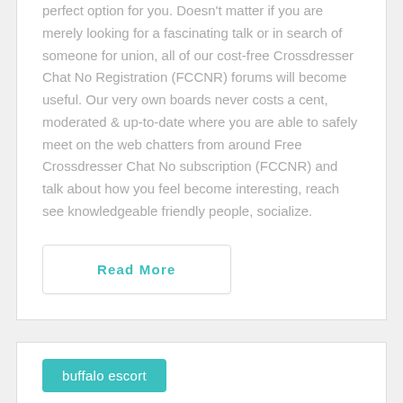perfect option for you. Doesn't matter if you are merely looking for a fascinating talk or in search of someone for union, all of our cost-free Crossdresser Chat No Registration (FCCNR) forums will become useful. Our very own boards never costs a cent, moderated & up-to-date where you are able to safely meet on the web chatters from around Free Crossdresser Chat No subscription (FCCNR) and talk about how you feel become interesting, reach see knowledgeable friendly people, socialize.
Read More
buffalo escort